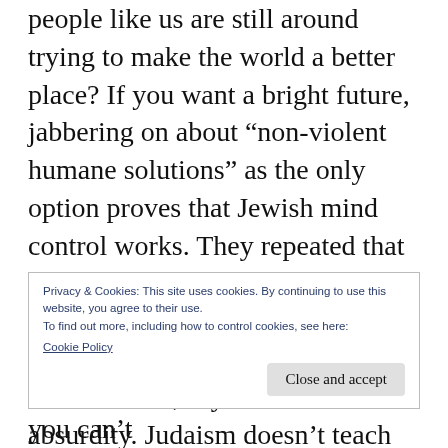people like us are still around trying to make the world a better place? If you want a bright future, jabbering on about “non-violent humane solutions” as the only option proves that Jewish mind control works. They repeated that gibberish enough that now most people actually believe it! It’s a lie. A great foolishness, ensuring the Jews win, if you believe that absurdity. Judaism doesn’t teach that sort
Privacy & Cookies: This site uses cookies. By continuing to use this website, you agree to their use.
To find out more, including how to control cookies, see here:
Cookie Policy
Close and accept
going to die. That even guys like you can’t